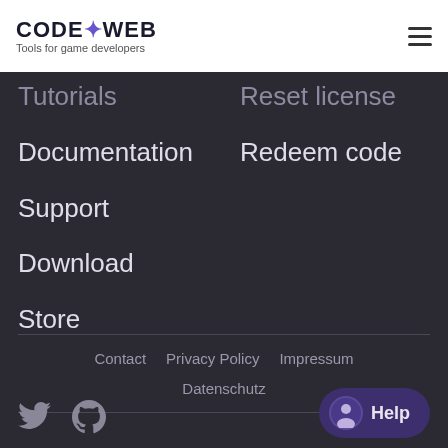CODE+WEB — Tools for game developers
Tutorials
Reset license
Documentation
Redeem code
Support
Download
Store
Contact  Privacy Policy  Impressum  Datenschutz